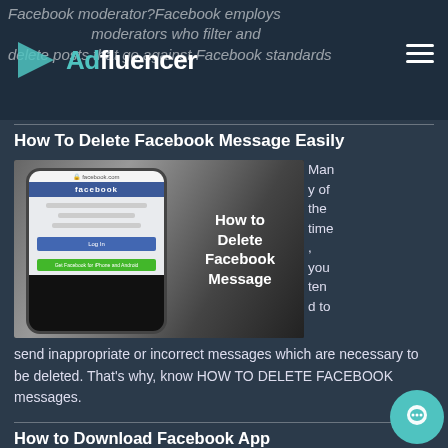Facebook moderator?Facebook employs moderators who filter and delete posts that go against Facebook standards
[Figure (logo): Adfluencer logo with teal play button icon and text]
How To Delete Facebook Message Easily
[Figure (photo): Phone showing Facebook login page with overlay text: How to Delete Facebook Message]
Many of the time, you tend to send inappropriate or incorrect messages which are necessary to be deleted. That's why, know HOW TO DELETE FACEBOOK messages.
How to Download Facebook App
[Figure (photo): Partial image of phone with text How to]
Wa